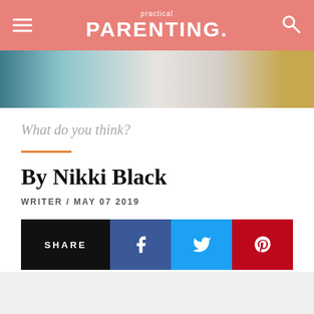practical PARENTING.
[Figure (photo): Close-up photo of what appears to be skin or fabric with blurred colorful backgrounds in teal, white, and gold/yellow tones]
What do you think?
By Nikki Black
WRITER / MAY 07 2019
SHARE